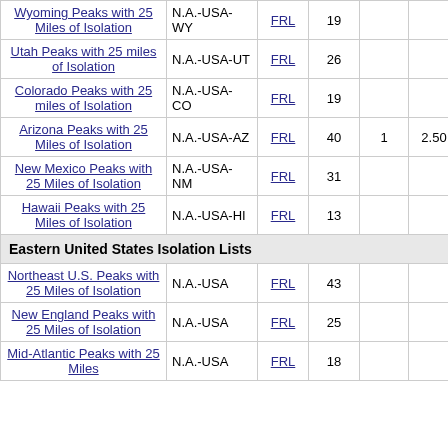| List Name | Region | Type | Count | Rank | Score | Top Peak |
| --- | --- | --- | --- | --- | --- | --- |
| Wyoming Peaks with 25 Miles of Isolation | N.A.-USA-WY | FRL | 19 |  |  |  |
| Utah Peaks with 25 miles of Isolation | N.A.-USA-UT | FRL | 26 |  |  |  |
| Colorado Peaks with 25 miles of Isolation | N.A.-USA-CO | FRL | 19 |  |  |  |
| Arizona Peaks with 25 Miles of Isolation | N.A.-USA-AZ | FRL | 40 | 1 | 2.50 | Humphreys Peak |
| New Mexico Peaks with 25 Miles of Isolation | N.A.-USA-NM | FRL | 31 |  |  |  |
| Hawaii Peaks with 25 Miles of Isolation | N.A.-USA-HI | FRL | 13 |  |  |  |
| Eastern United States Isolation Lists |
| Northeast U.S. Peaks with 25 Miles of Isolation | N.A.-USA | FRL | 43 |  |  |  |
| New England Peaks with 25 Miles of Isolation | N.A.-USA | FRL | 25 |  |  |  |
| Mid-Atlantic Peaks with 25 Miles | N.A.-USA | FRL | 18 |  |  |  |